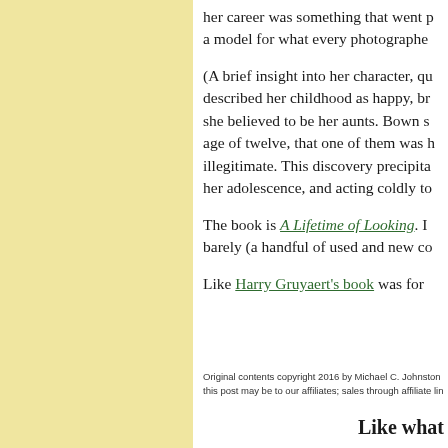her career was something that went p[ast] a model for what every photographe[r...]
(A brief insight into her character, qu[ite...] described her childhood as happy, br[ight...] she believed to be her aunts. Bown s[aid...] age of twelve, that one of them was [her] illegitimate. This discovery precipita[ted...] her adolescence, and acting coldly to[...]
The book is A Lifetime of Looking. I[t is] barely (a handful of used and new co[...]
Like Harry Gruyaert's book was for [...]
Original contents copyright 2016 by Michael C. Johnston
this post may be to our affiliates; sales through affiliate lin[ks...]
Like what